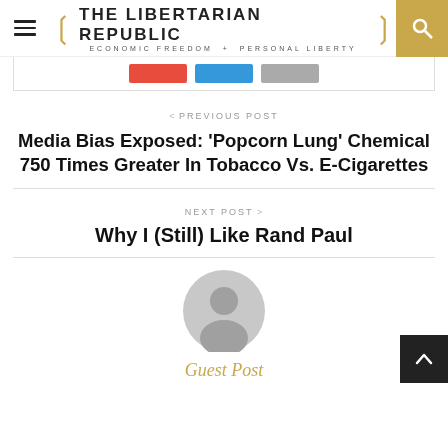THE LIBERTARIAN REPUBLIC — ECONOMIC FREEDOM + PERSONAL LIBERTY
[Share buttons: red, blue, gray]
< PREVIOUS POST
Media Bias Exposed: 'Popcorn Lung' Chemical 750 Times Greater In Tobacco Vs. E-Cigarettes
NEXT POST >
Why I (Still) Like Rand Paul
[Figure (illustration): Generic user avatar circle (grey silhouette)]
Guest Post